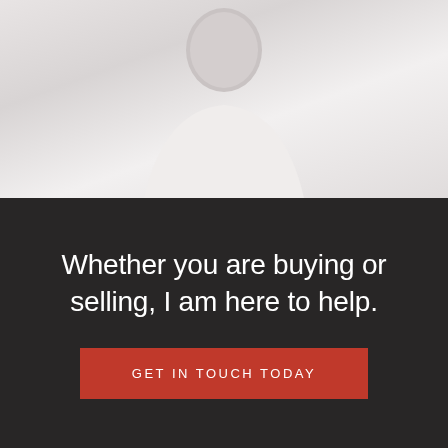[Figure (photo): Partial photo of a person in a white top, cropped showing upper body/shoulders against a light gray background]
Whether you are buying or selling, I am here to help.
GET IN TOUCH TODAY